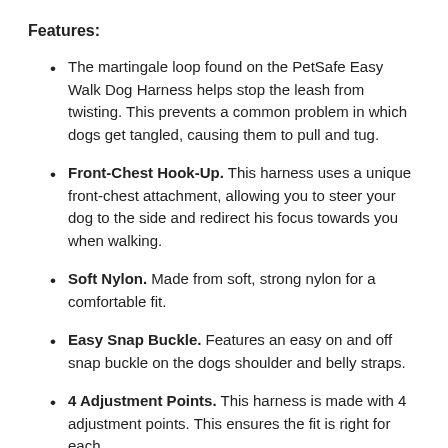Features:
The martingale loop found on the PetSafe Easy Walk Dog Harness helps stop the leash from twisting. This prevents a common problem in which dogs get tangled, causing them to pull and tug.
Front-Chest Hook-Up. This harness uses a unique front-chest attachment, allowing you to steer your dog to the side and redirect his focus towards you when walking.
Soft Nylon. Made from soft, strong nylon for a comfortable fit.
Easy Snap Buckle. Features an easy on and off snap buckle on the dogs shoulder and belly straps.
4 Adjustment Points. This harness is made with 4 adjustment points. This ensures the fit is right for each